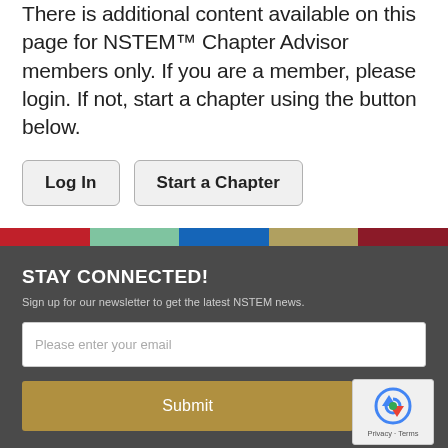There is additional content available on this page for NSTEM™ Chapter Advisor members only. If you are a member, please login. If not, start a chapter using the button below.
Log In | Start a Chapter
STAY CONNECTED!
Sign up for our newsletter to get the latest NSTEM news.
Please enter your email
Submit